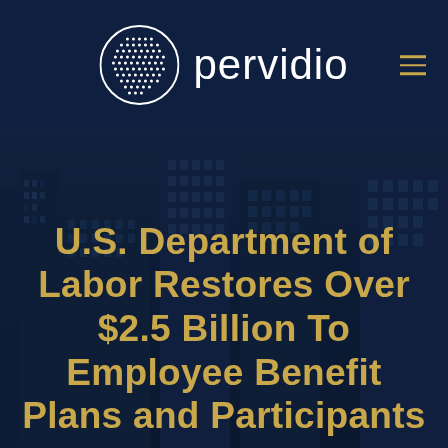pervidio
[Figure (photo): City skyline with tall glass skyscrapers at night, dark blue toned image used as background]
U.S. Department of Labor Restores Over $2.5 Billion To Employee Benefit Plans and Participants